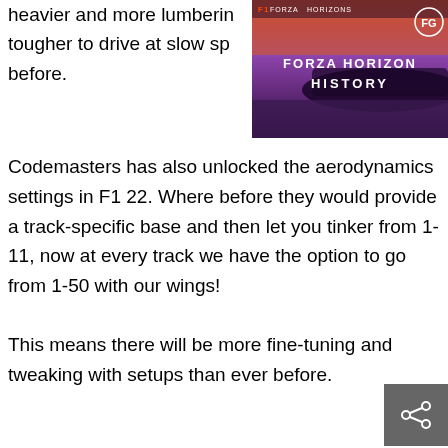heavier and more lumberin… tougher to drive at slow sp… before.
[Figure (screenshot): Forza Horizon History video thumbnail with purple/red gradient background, car silhouette, and text 'FORZA HORIZON HISTORY' with a logo icon]
Codemasters has also unlocked the aerodynamics settings in F1 22. Where before they would provide a track-specific base and then let you tinker from 1-11, now at every track we have the option to go from 1-50 with our wings!
This means there will be more fine-tuning and tweaking with setups than ever before.